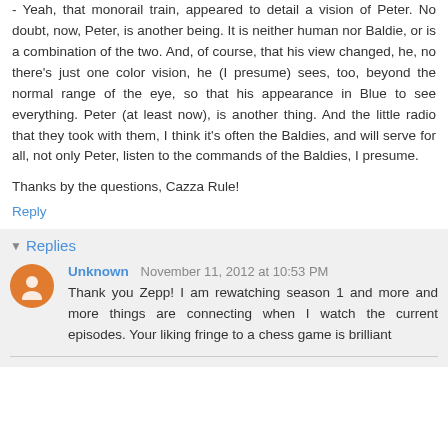- Yeah, that monorail train, appeared to detail a vision of Peter. No doubt, now, Peter, is another being. It is neither human nor Baldie, or is a combination of the two. And, of course, that his view changed, he, no there's just one color vision, he (I presume) sees, too, beyond the normal range of the eye, so that his appearance in Blue to see everything. Peter (at least now), is another thing. And the little radio that they took with them, I think it's often the Baldies, and will serve for all, not only Peter, listen to the commands of the Baldies, I presume.
Thanks by the questions, Cazza Rule!
Reply
Replies
Unknown  November 11, 2012 at 10:53 PM
Thank you Zepp! I am rewatching season 1 and more and more things are connecting when I watch the current episodes. Your liking fringe to a chess game is brilliant